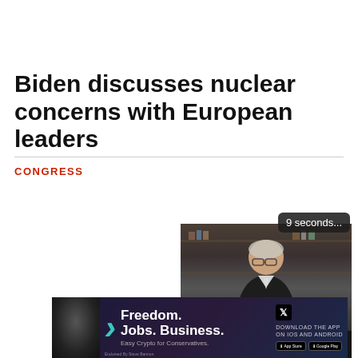Biden discusses nuclear concerns with European leaders
CONGRESS
[Figure (screenshot): Video player showing a man in a dark suit sitting in front of bookshelves, with a '9 seconds...' countdown overlay and Just the News logo in controls]
[Figure (infographic): Advertisement banner for 'Freedom. Jobs. Business. Easy Crypto for Conservatives.' with download links for iOS and Android, featuring a person and teal arrow graphic]